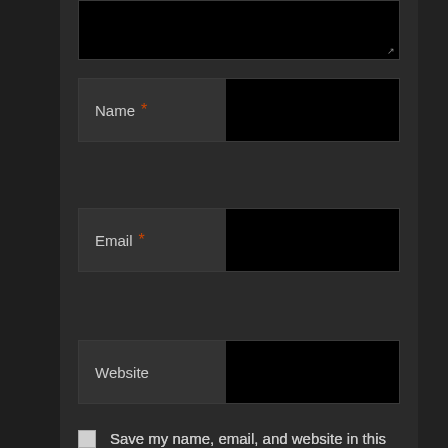[Figure (screenshot): Dark-themed web comment form showing a textarea at the top (partially visible), followed by three input fields: Name (required, marked with orange asterisk), Email (required, marked with orange asterisk), and Website (optional). Below the fields are two checkboxes: 'Save my name, email, and website in this browser for the next time I comment.' and 'Notify me of follow-up comments by email.']
Name *
Email *
Website
Save my name, email, and website in this browser for the next time I comment.
Notify me of follow-up comments by email.